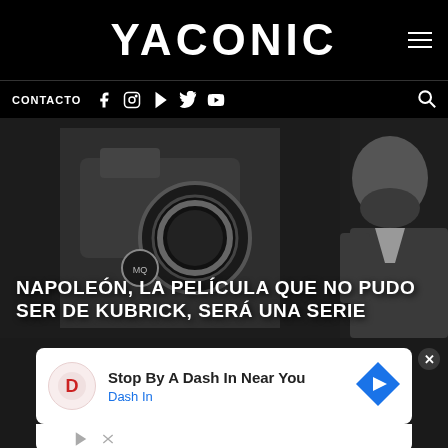YACONIC
CONTACTO
[Figure (photo): Black and white photo of a bearded man near a film camera, Stanley Kubrick style. Overlay text reads: NAPOLEÓN, LA PELÍCULA QUE NO PUDO SER DE KUBRICK, SERÁ UNA SERIE]
NAPOLEÓN, LA PELÍCULA QUE NO PUDO SER DE KUBRICK, SERÁ UNA SERIE
[Figure (screenshot): Advertisement banner: Stop By A Dash In Near You – Dash In, with Dash In logo and navigation arrow icon]